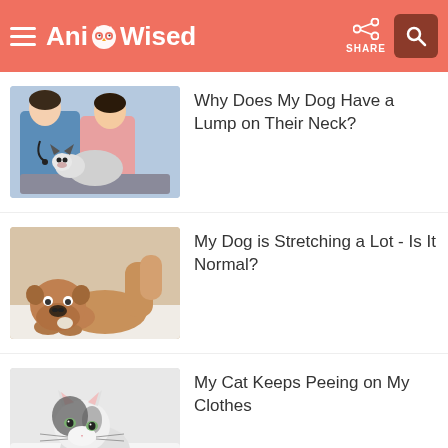AnimalWised
[Figure (photo): Veterinarian in blue scrubs and owner in pink shirt examining a Husky dog on a table]
Why Does My Dog Have a Lump on Their Neck?
[Figure (photo): English Bulldog in a play bow stretch on a white floor]
My Dog is Stretching a Lot - Is It Normal?
[Figure (photo): Black and white cat sitting on a white surface looking at camera]
My Cat Keeps Peeing on My Clothes
[Figure (photo): Partially visible article thumbnail at bottom of page]
Healing Wounds on a Cat's...